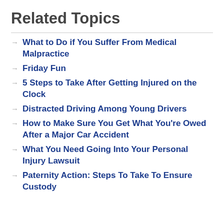Related Topics
What to Do if You Suffer From Medical Malpractice
Friday Fun
5 Steps to Take After Getting Injured on the Clock
Distracted Driving Among Young Drivers
How to Make Sure You Get What You're Owed After a Major Car Accident
What You Need Going Into Your Personal Injury Lawsuit
Paternity Action: Steps To Take To Ensure Custody